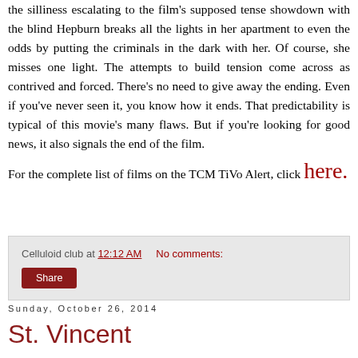the silliness escalating to the film's supposed tense showdown with the blind Hepburn breaks all the lights in her apartment to even the odds by putting the criminals in the dark with her. Of course, she misses one light. The attempts to build tension come across as contrived and forced. There's no need to give away the ending. Even if you've never seen it, you know how it ends. That predictability is typical of this movie's many flaws. But if you're looking for good news, it also signals the end of the film.
For the complete list of films on the TCM TiVo Alert, click here.
Celluloid club at 12:12 AM   No comments:
Share
Sunday, October 26, 2014
St. Vincent